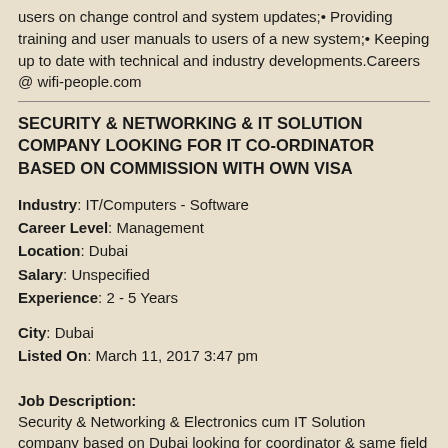users on change control and system updates;• Providing training and user manuals to users of a new system;• Keeping up to date with technical and industry developments.Careers @ wifi-people.com
SECURITY & NETWORKING & IT SOLUTION COMPANY LOOKING FOR IT CO-ORDINATOR BASED ON COMMISSION WITH OWN VISA
Industry: IT/Computers - Software
Career Level: Management
Location: Dubai
Salary: Unspecified
Experience: 2 - 5 Years
City: Dubai
Listed On: March 11, 2017 3:47 pm
Job Description:
Security & Networking & Electronics cum IT Solution company based on Dubai looking for coordinator & same field experience with own VISA.ONLY KERALALITES.salary is based on commission and WHO is leaving Experience